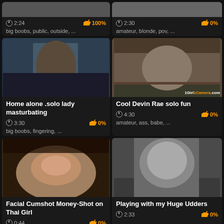[Figure (screenshot): Video thumbnail grid - top partial row showing two video cards]
big boobs, public, outside, ...
2:24 · 100%
amateur, blonde, pov, ...
2:30 · 0%
[Figure (screenshot): Home alone .solo lady masturbating - video thumbnail]
Home alone .solo lady masturbating
3:30 · 0%
big boobs, fingering, ...
[Figure (screenshot): Cool Devin Rae solo fun - video thumbnail with 1Girl1Camera.com watermark]
Cool Devin Rae solo fun
4:30 · 0%
amateur, ass, babe, ...
[Figure (screenshot): Facial Cumshot Money-Shot on Thai Girl - video thumbnail]
Facial Cumshot Money-Shot on Thai Girl
0:44 · 0%
[Figure (screenshot): Playing with my Huge Udders - video thumbnail]
Playing with my Huge Udders
2:33 · 0%